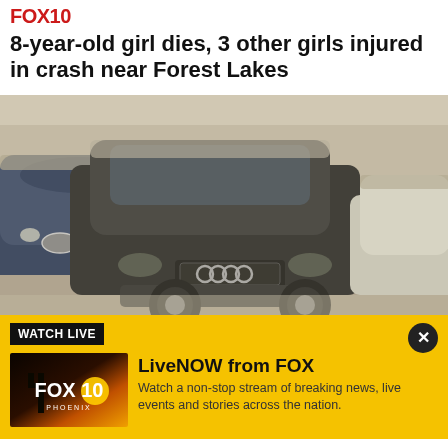FOX10
8-year-old girl dies, 3 other girls injured in crash near Forest Lakes
[Figure (photo): Photo of multiple SUVs covered in dust/ash parked in a lot. Center is a dark Audi Q7, left is a blue BMW SUV, right is a white small car. All vehicles are heavily coated in grey dust.]
WATCH LIVE
[Figure (logo): FOX 10 Phoenix logo thumbnail with orange and golden sunset background]
LiveNOW from FOX
Watch a non-stop stream of breaking news, live events and stories across the nation.